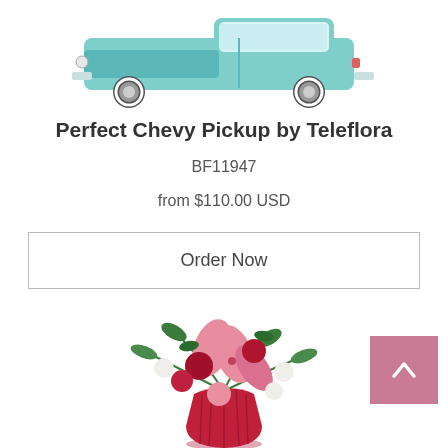[Figure (photo): Partial view of a vintage teal/mint Chevy pickup truck toy/ceramic figurine with white-wall tires, cropped at top of page]
Perfect Chevy Pickup by Teleflora
BF11947
from $110.00 USD
Order Now
[Figure (photo): Floral arrangement with pink stargazer lilies, red roses, white alstroemeria, pink carnations, and greenery in a red ribbed vase]
[Figure (other): Pink scroll-to-top button with white upward chevron arrow in lower right corner]